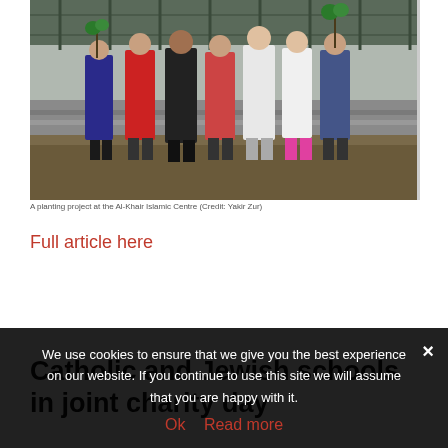[Figure (photo): Group of children holding plants at a planting project at the Al-Khair Islamic Centre]
A planting project at the Al-Khair Islamic Centre (Credit: Yakir Zur)
Full article here
Catholic and Jewish schools in joint charity day
We use cookies to ensure that we give you the best experience on our website. If you continue to use this site we will assume that you are happy with it.
Ok  Read more